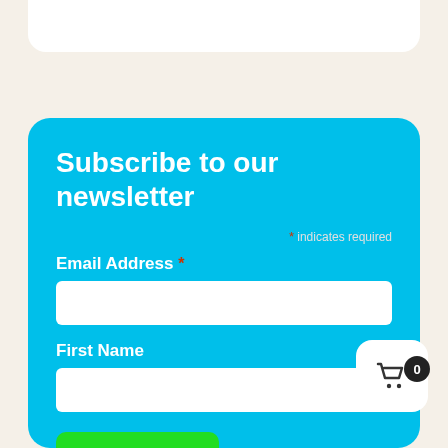[Figure (screenshot): Partial white card visible at top of page, cropped]
Subscribe to our newsletter
* indicates required
Email Address *
First Name
SUBSCR
[Figure (illustration): Shopping cart icon widget with badge showing 0, white rounded square background, positioned bottom right]